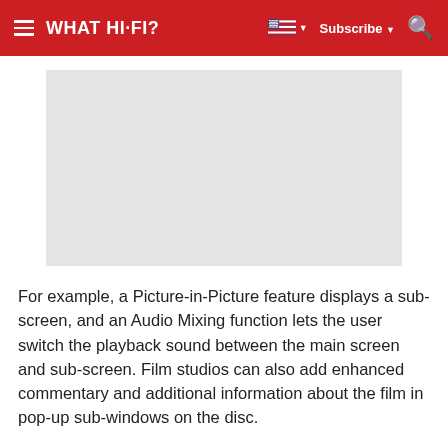WHAT HI-FI? — Subscribe
[Figure (other): Grey advertisement placeholder rectangle]
For example, a Picture-in-Picture feature displays a sub-screen, and an Audio Mixing function lets the user switch the playback sound between the main screen and sub-screen. Film studios can also add enhanced commentary and additional information about the film in pop-up sub-windows on the disc.
The £350 DMP-BD30 can also output Dolby TrueHD and DTS-HD audio bitstreams from a wide...